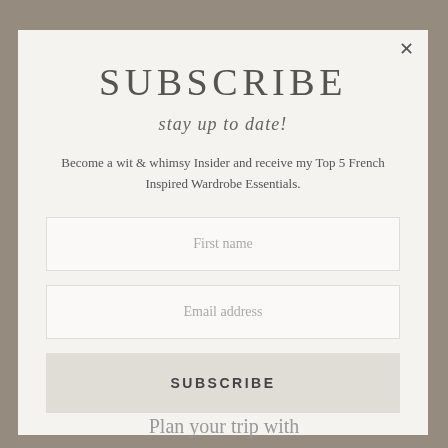SUBSCRIBE
stay up to date!
Become a wit & whimsy Insider and receive my Top 5 French Inspired Wardrobe Essentials.
First name
Email address
SUBSCRIBE
Plan your trip with